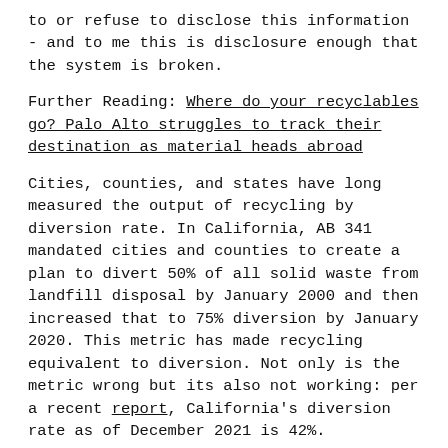to or refuse to disclose this information - and to me this is disclosure enough that the system is broken.
Further Reading: Where do your recyclables go? Palo Alto struggles to track their destination as material heads abroad
Cities, counties, and states have long measured the output of recycling by diversion rate. In California, AB 341 mandated cities and counties to create a plan to divert 50% of all solid waste from landfill disposal by January 2000 and then increased that to 75% diversion by January 2020. This metric has made recycling equivalent to diversion. Not only is the metric wrong but its also not working: per a recent report, California's diversion rate as of December 2021 is 42%.